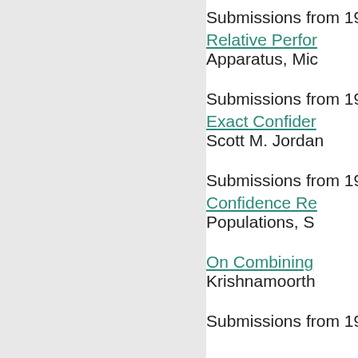Submissions from 199…
Relative Perfor… Apparatus, Mic…
Submissions from 199…
Exact Confider…
Scott M. Jordan…
Submissions from 199…
Confidence Re… Populations, S…
On Combining…
Krishnamoorthy…
Submissions from 197…